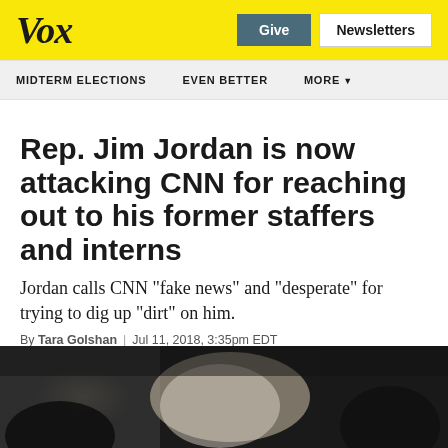Vox | Give | Newsletters
MIDTERM ELECTIONS | EVEN BETTER | MORE
Rep. Jim Jordan is now attacking CNN for reaching out to his former staffers and interns
Jordan calls CNN “fake news” and “desperate” for trying to dig up “dirt” on him.
By Tara Golshan | Jul 11, 2018, 3:35pm EDT
[Figure (photo): Bottom portion of article page showing dark blurred photo of a person]